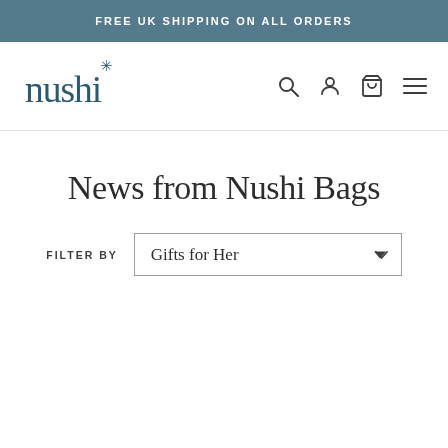FREE UK SHIPPING ON ALL ORDERS
[Figure (logo): Nushi Bags logo — stylized lowercase 'nushi' text with a snowflake/asterisk star above the letter i]
News from Nushi Bags
FILTER BY  Gifts for Her